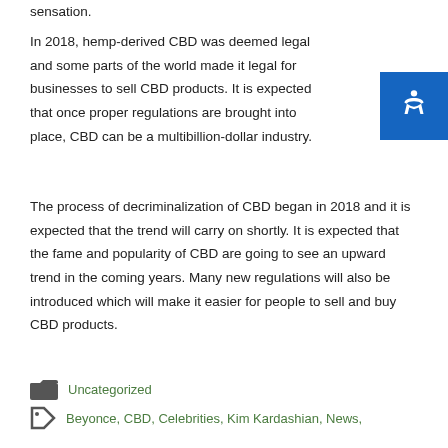sensation.
In 2018, hemp-derived CBD was deemed legal and some parts of the world made it legal for businesses to sell CBD products. It is expected that once proper regulations are brought into place, CBD can be a multibillion-dollar industry.
The process of decriminalization of CBD began in 2018 and it is expected that the trend will carry on shortly. It is expected that the fame and popularity of CBD are going to see an upward trend in the coming years. Many new regulations will also be introduced which will make it easier for people to sell and buy CBD products.
Uncategorized
Beyonce, CBD, Celebrities, Kim Kardashian, News,